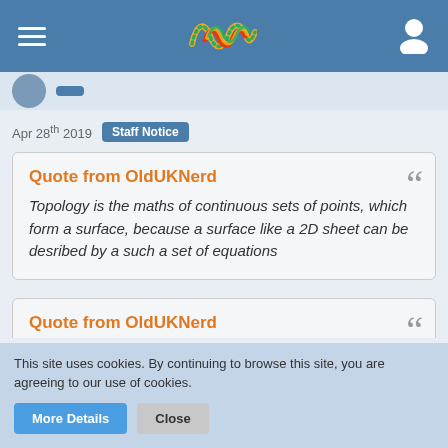[Figure (screenshot): Navigation bar with hamburger menu, colorful wave logo, and user icon on blue background]
Apr 28th 2019  Staff Notice
Quote from OldUKNerd
Topology is the maths of continuous sets of points, which form a surface, because a surface like a 2D sheet can be desribed by a such a set of equations
Quote from OldUKNerd
This site uses cookies. By continuing to browse this site, you are agreeing to our use of cookies.